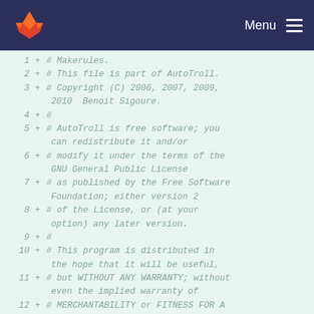Menu
[Figure (screenshot): GitLab diff view showing lines 1-12 of a Makefile with copyright and license header comments, all lines prefixed with + indicating additions.]